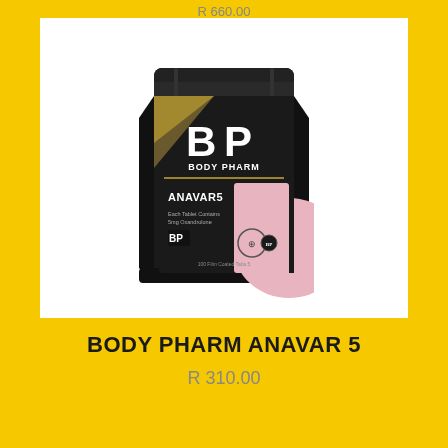R 660.00
[Figure (photo): Black Body Pharm Anavar 5 supplement pouch with BP logo and pink accent panel showing ANAVAR5 label]
BODY PHARM ANAVAR 5
R 310.00